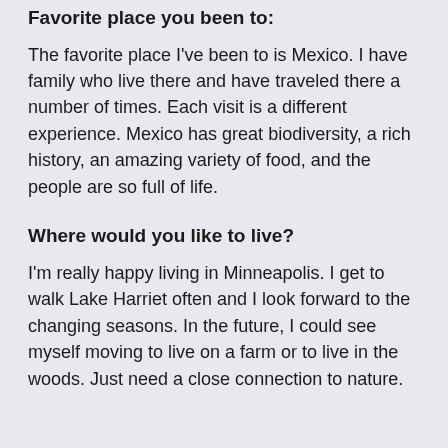Favorite place you been to:
The favorite place I've been to is Mexico.  I have family who live there and have traveled there a number of times.  Each visit is a different experience.  Mexico has great biodiversity, a rich history, an amazing variety of food, and the people are so full of life.
Where would you like to live?
I'm really happy living in Minneapolis.  I get to walk Lake Harriet often and I look forward to the changing seasons.  In the future, I could see myself moving to live on a farm or to live in the woods.  Just need a close connection to nature.